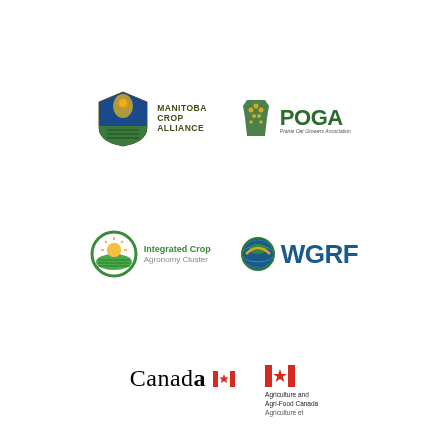[Figure (logo): Manitoba Crop Alliance logo - shield icon with grain and text 'MANITOBA CROP ALLIANCE']
[Figure (logo): POGA logo - Prairie Oat Growers Association, green leaf/plant icon with 'POGA' text]
[Figure (logo): Integrated Crop Agronomy Cluster logo - circular green/orange icon with fields and sun]
[Figure (logo): WGRF logo - Western Grains Research Foundation, green globe icon with 'WGRF' text]
[Figure (logo): Canada wordmark logo with red maple leaf flag]
[Figure (logo): Agriculture and Agri-Food Canada / Agriculture et logo with red maple leaf]